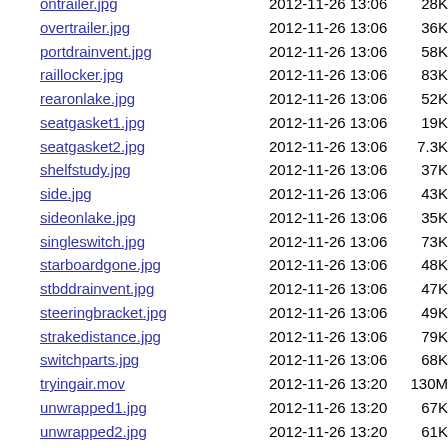ontrailer.jpg  2012-11-26 13:06  28K
overtrailer.jpg  2012-11-26 13:06  36K
portdrainvent.jpg  2012-11-26 13:06  58K
raillocker.jpg  2012-11-26 13:06  83K
rearonlake.jpg  2012-11-26 13:06  52K
seatgasket1.jpg  2012-11-26 13:06  19K
seatgasket2.jpg  2012-11-26 13:06  7.3K
shelfstudy.jpg  2012-11-26 13:06  37K
side.jpg  2012-11-26 13:06  43K
sideonlake.jpg  2012-11-26 13:06  35K
singleswitch.jpg  2012-11-26 13:06  73K
starboardgone.jpg  2012-11-26 13:06  48K
stbddrainvent.jpg  2012-11-26 13:06  47K
steeringbracket.jpg  2012-11-26 13:06  49K
strakedistance.jpg  2012-11-26 13:06  79K
switchparts.jpg  2012-11-26 13:06  68K
tryingair.mov  2012-11-26 13:20  130M
unwrapped1.jpg  2012-11-26 13:20  67K
unwrapped2.jpg  2012-11-26 13:20  61K
WABEwok.jpg  2012-11-26 13:20  73K